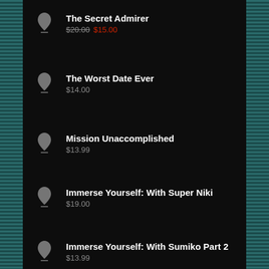The Secret Admirer $20.00 $15.00
The Worst Date Ever $14.00
Mission Unaccomplished $13.99
Immerse Yourself: With Super Niki $19.00
Immerse Yourself: With Sumiko Part 2 $13.99
Agent Becca's Plan $13.99